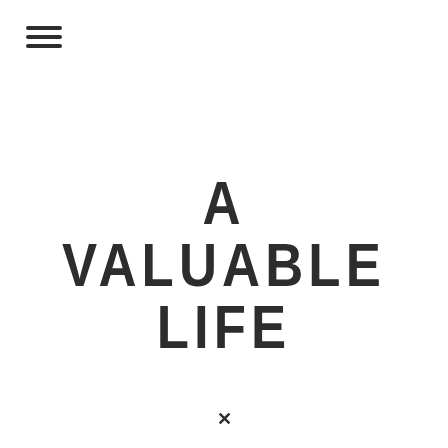[Figure (other): Hamburger menu icon with three horizontal lines]
A VALUABLE LIFE
X